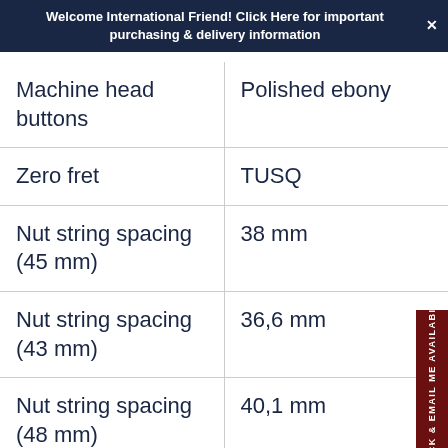Welcome International Friend! Click Here for important purchasing & delivery information
| Machine head buttons | Polished ebony |
| Zero fret | TUSQ |
| Nut string spacing (45 mm) | 38 mm |
| Nut string spacing (43 mm) | 36,6 mm |
| Nut string spacing (48 mm) | 40,1 mm |